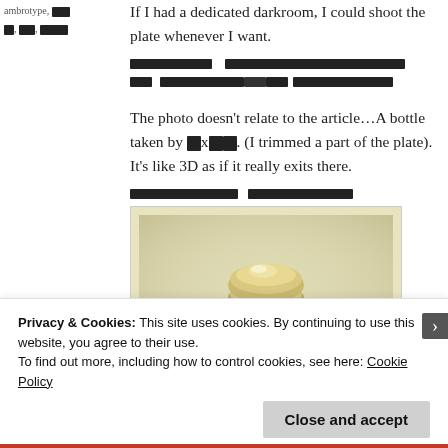ambrotype, [redacted] x, xx, xxxxx
If I had a dedicated darkroom, I could shoot the plate whenever I want.
[redacted text lines]
The photo doesn't relate to the article…A bottle taken by [redacted]. (I trimmed a part of the plate). It's like 3D as if it really exits there.
[redacted text lines]
[Figure (photo): A vintage sepia-toned photograph of a metallic bottle stopper or cap, appearing three-dimensional against a light background.]
Privacy & Cookies: This site uses cookies. By continuing to use this website, you agree to their use.
To find out more, including how to control cookies, see here: Cookie Policy
Close and accept